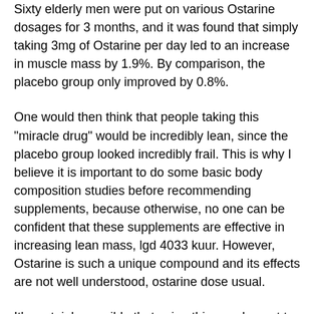Sixty elderly men were put on various Ostarine dosages for 3 months, and it was found that simply taking 3mg of Ostarine per day led to an increase in muscle mass by 1.9%. By comparison, the placebo group only improved by 0.8%.
One would then think that people taking this "miracle drug" would be incredibly lean, since the placebo group looked incredibly frail. This is why I believe it is important to do some basic body composition studies before recommending supplements, because otherwise, no one can be confident that these supplements are effective in increasing lean mass, lgd 4033 kuur. However, Ostarine is such a unique compound and its effects are not well understood, ostarine dose usual.
It's certainly possible that using this supplement to boost lean mass might decrease fat mass in the long run. On the